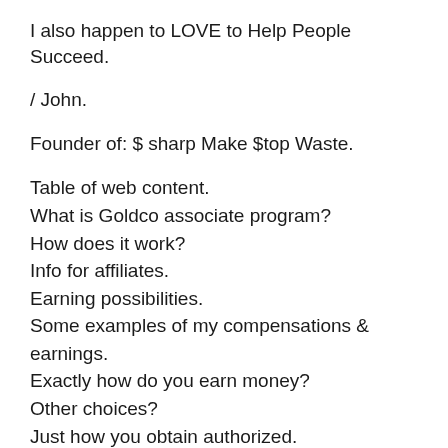I also happen to LOVE to Help People Succeed.
/ John.
Founder of: $ sharp Make $top Waste.
Table of web content.
What is Goldco associate program?
How does it work?
Info for affiliates.
Earning possibilities.
Some examples of my compensations & earnings.
Exactly how do you earn money?
Other choices?
Just how you obtain authorized.
My expert experience.